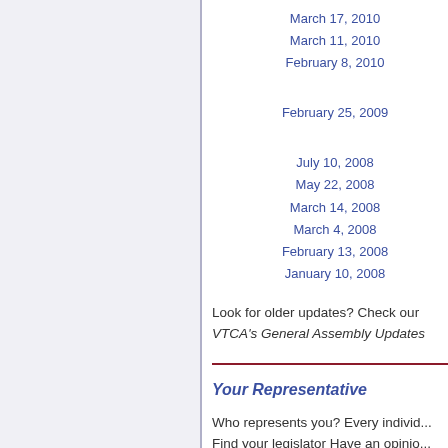March 17, 2010
March 11, 2010
February 8, 2010
February 25, 2009
July 10, 2008
May 22, 2008
March 14, 2008
March 4, 2008
February 13, 2008
January 10, 2008
Look for older updates? Check our VTCA's General Assembly Updates
Your Representative
Who represents you?  Every individ... Find your legislator Have an opinio...